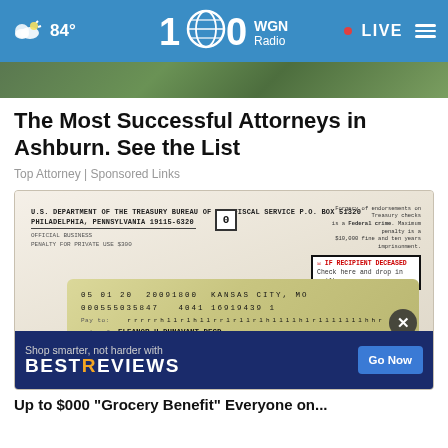84° WGN Radio · LIVE
[Figure (screenshot): Partial image showing green/nature background at top of article]
The Most Successful Attorneys in Ashburn. See the List
Top Attorney | Sponsored Links
[Figure (photo): Photo of a U.S. Department of the Treasury Bureau of the Fiscal Service check envelope, P.O. Box 51320, Philadelphia, Pennsylvania 19115-6320, with a visible Treasury check stub showing date 05 01 20, account number 00 0555035847, Kansas City MO, Eleanor H Dunavant DECD and Martha D Fishwick as payees, with a redacted address block]
[Figure (screenshot): BestReviews advertisement banner: 'Shop smarter, not harder with BESTREVIEWS' with a Go Now button]
Up to $000 "Grocery Benefit" Everyone on...